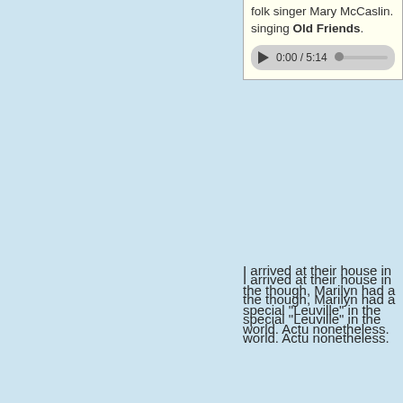folk singer Mary McCaslin. singing Old Friends.
[Figure (other): Audio player showing 0:00 / 5:14 with play button and progress bar]
I arrived at their house in the though, Marilyn had a special "Leuville" in the world. Actu nonetheless.
After eating a delicious seafoo up to Auburn and tour the ho assassination of President Ab kill several U.S. politicians tha
The sheet from Seward's bed still on display in the Seward blood stains are now faded bu